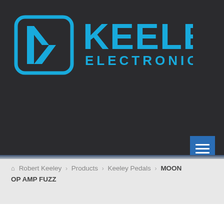[Figure (logo): Keeley Electronics logo: a cyan K icon in a rounded square on dark background, with 'KEELEY ELECTRONICS' text in cyan to the right]
Robert Keeley > Products > Keeley Pedals > MOON OP AMP FUZZ